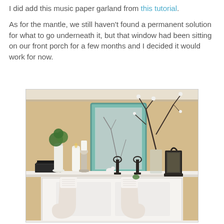I did add this music paper garland from this tutorial.

As for the mantle, we still haven't found a permanent solution for what to go underneath it, but that window had been sitting on our front porch for a few months and I decided it would work for now.
[Figure (photo): A decorated fireplace mantle with a teal/mint ornate mirror, white candles on silver candleholders, a white vase with green plants, dark branches with white blossoms, a black lantern, and two white knit stockings hanging from the mantle front.]